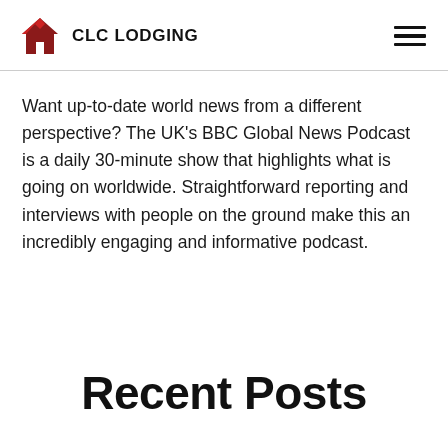CLC LODGING
Want up-to-date world news from a different perspective? The UK's BBC Global News Podcast is a daily 30-minute show that highlights what is going on worldwide. Straightforward reporting and interviews with people on the ground make this an incredibly engaging and informative podcast.
Recent Posts